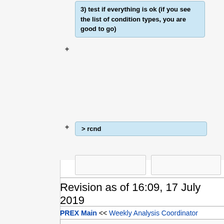[Figure (screenshot): Wiki diff view showing blue highlighted addition boxes. Box 1 contains text: '3) test if everything is ok (if you see the list of condition types, you are good to go)'. Box 2 contains '> rcnd'. Plus signs indicate additions. Below are empty placeholder boxes.]
Revision as of 16:09, 17 July 2019
PREX Main << Weekly Analysis Coordinator
Contents
1 General information
1.1 Instruction for users
1.1.1 How to read from the DB
1.1.2 How to add/modify comments for the DB
1.1.3 WAC DB TOOL